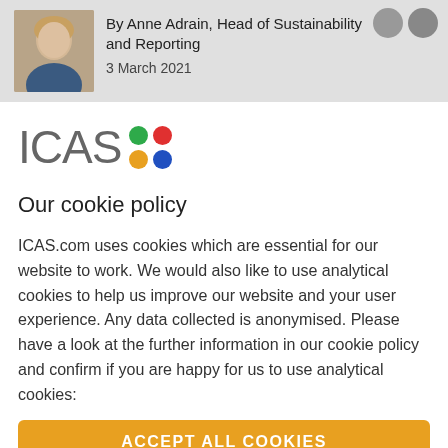[Figure (photo): Author photo of Anne Adrain, a woman with blonde hair, alongside social media icons in the header bar]
By Anne Adrain, Head of Sustainability and Reporting
3 March 2021
[Figure (logo): ICAS logo: the letters 'ICAS' in light grey followed by four colored dots arranged in a 2x2 grid: green, red, yellow, blue]
Our cookie policy
ICAS.com uses cookies which are essential for our website to work. We would also like to use analytical cookies to help us improve our website and your user experience. Any data collected is anonymised. Please have a look at the further information in our cookie policy and confirm if you are happy for us to use analytical cookies:
ACCEPT ALL COOKIES